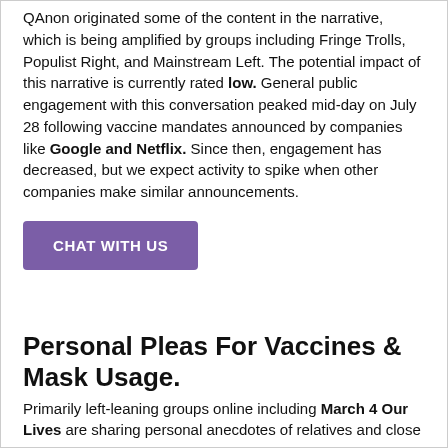QAnon originated some of the content in the narrative, which is being amplified by groups including Fringe Trolls, Populist Right, and Mainstream Left. The potential impact of this narrative is currently rated low. General public engagement with this conversation peaked mid-day on July 28 following vaccine mandates announced by companies like Google and Netflix. Since then, engagement has decreased, but we expect activity to spike when other companies make similar announcements.
[Figure (other): Purple button labeled CHAT WITH US]
Personal Pleas For Vaccines & Mask Usage.
Primarily left-leaning groups online including March 4 Our Lives are sharing personal anecdotes of relatives and close